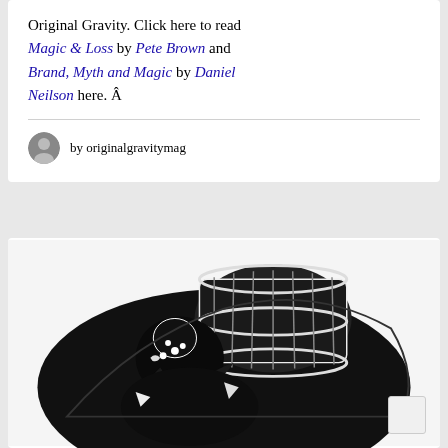Original Gravity. Click here to read Magic & Loss by Pete Brown and Brand, Myth and Magic by Daniel Neilson here. Â
by originalgravitymag
[Figure (illustration): Black and white woodcut-style illustration of a figure carrying or crouching beneath a large barrel, rendered in high-contrast black and white with bold linework]